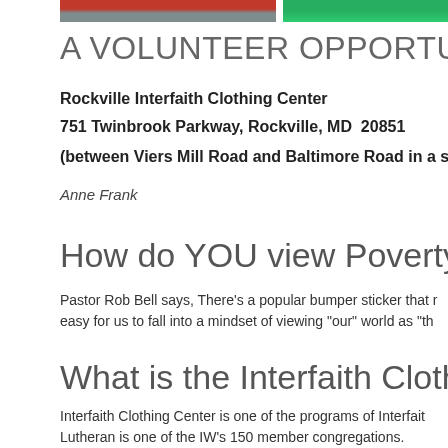[Figure (photo): Two cropped photos at top: left shows people in red clothing, right shows green outdoor scene]
A VOLUNTEER OPPORTUNIT
Rockville Interfaith Clothing Center
751 Twinbrook Parkway, Rockville, MD  20851
(between Viers Mill Road and Baltimore Road in a section
Anne Frank
How do YOU view Poverty?
Pastor Rob Bell says, There's a popular bumper sticker that r easy for us to fall into a mindset of viewing "our" world as "th
What is the Interfaith Clothing
Interfaith Clothing Center is one of the programs of Interfait Lutheran is one of the IW's 150 member congregations.